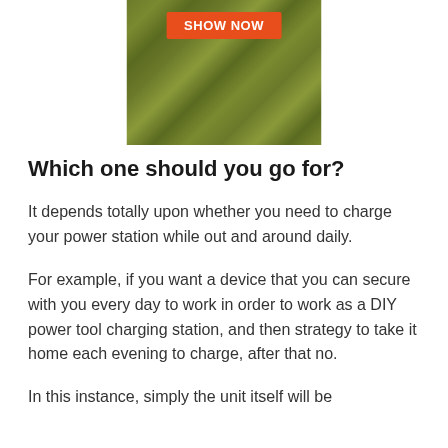[Figure (photo): A grassy outdoor scene with an orange 'SHOW NOW' button overlaid at the top center of the image.]
Which one should you go for?
It depends totally upon whether you need to charge your power station while out and around daily.
For example, if you want a device that you can secure with you every day to work in order to work as a DIY power tool charging station, and then strategy to take it home each evening to charge, after that no.
In this instance, simply the unit itself will be